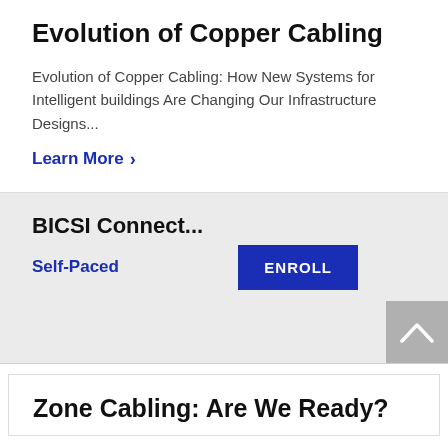Evolution of Copper Cabling
Evolution of Copper Cabling: How New Systems for Intelligent buildings Are Changing Our Infrastructure Designs...
Learn More >
BICSI Connect...
Self-Paced
ENROLL
Zone Cabling: Are We Ready?